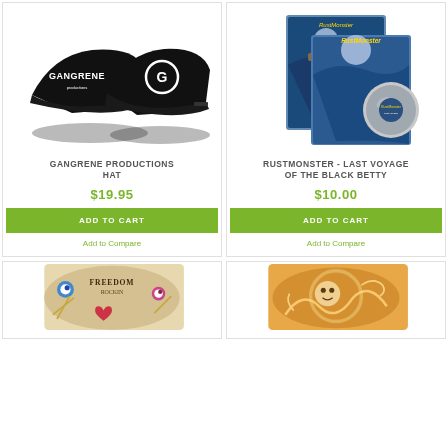[Figure (photo): Two black baseball hats with Gangrene branding — one with 'GANGRENE' text logo, one with a G symbol logo.]
GANGRENE PRODUCTIONS HAT
$19.95
ADD TO CART
Add to Compare
[Figure (photo): Rustmonster Last Voyage of the Black Betty CD album with case and disc visible, nautical themed artwork.]
RUSTMONSTER - LAST VOYAGE OF THE BLACK BETTY
$10.00
ADD TO CART
Add to Compare
[Figure (photo): Partially visible colorful product with illustrated cartoon-style cover art, blue and cream tones.]
[Figure (photo): Partially visible colorful product with warm orange and illustrated tones, appears to be an album or book.]